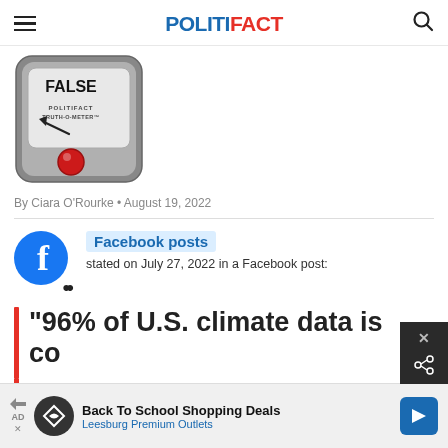POLITIFACT
[Figure (illustration): PolitiFact Truth-O-Meter gauge showing FALSE rating with red indicator light and arrow pointing to FALSE]
By Ciara O'Rourke • August 19, 2022
[Figure (logo): Facebook logo - blue circle with white F]
Facebook posts stated on July 27, 2022 in a Facebook post:
"96% of U.S. climate data is corrupted."